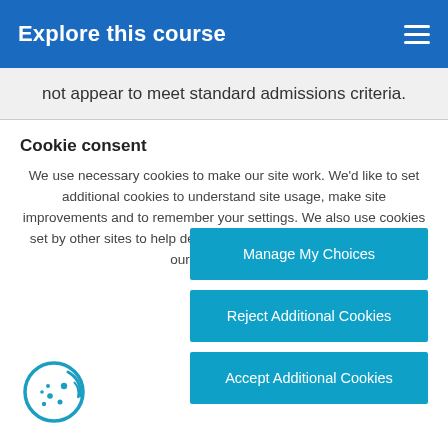Explore this course
not appear to meet standard admissions criteria.
Cookie consent
We use necessary cookies to make our site work. We'd like to set additional cookies to understand site usage, make site improvements and to remember your settings. We also use cookies set by other sites to help deliver content from their services. View our Cookie Notice
Manage My Choices
Reject Additional Cookies
Accept Additional Cookies
[Figure (illustration): Cookie icon: circle with cookie bite and dots]